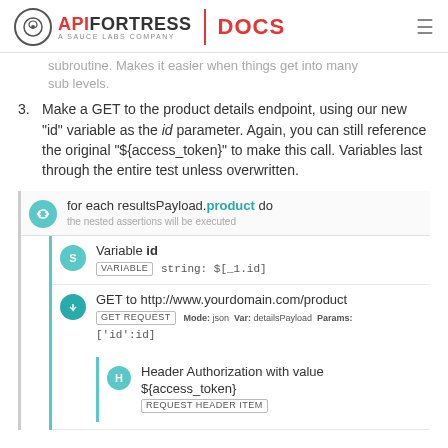API FORTRESS | DOCS — A SAUCE LABS COMPANY
subroutine. Makes it easier when things get into many sub levels.
Make a GET to the product details endpoint, using our new "id" variable as the id parameter. Again, you can still reference the original "${access_token}" to make this call. Variables last through the entire test unless overwritten.
[Figure (screenshot): API Fortress UI panel showing: for each resultsPayload.product do loop with nested Variable id (VARIABLE, string: $[_1.id]), GET to http://www.yourdomain.com/product (GET REQUEST, Mode: json, Var: detailsPayload, Params: ['id':id]), and Header Authorization with value ${access_token} (REQUEST HEADER ITEM)]